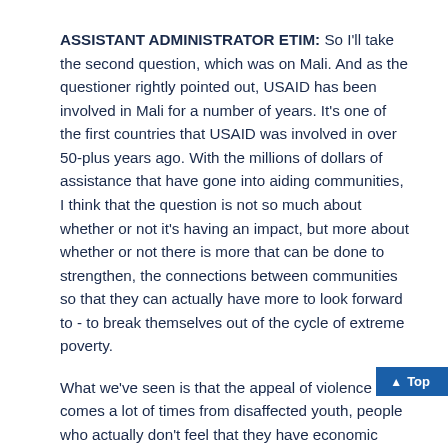ASSISTANT ADMINISTRATOR ETIM: So I'll take the second question, which was on Mali. And as the questioner rightly pointed out, USAID has been involved in Mali for a number of years. It's one of the first countries that USAID was involved in over 50-plus years ago. With the millions of dollars of assistance that have gone into aiding communities, I think that the question is not so much about whether or not it's having an impact, but more about whether or not there is more that can be done to strengthen, the connections between communities so that they can actually have more to look forward to - to break themselves out of the cycle of extreme poverty.
What we've seen is that the appeal of violence comes a lot of times from disaffected youth, people who actually don't feel that they have economic futures. USAID's programming in northern Mali is really aiming to address some of those root causes of the social ills. And I think that over time we'll see some progress there.